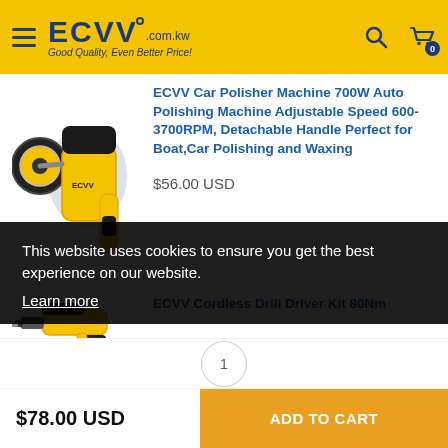ECVV .com.kw Good Quality, Even Better Price!
[Figure (photo): Yellow and black car polisher machine product photo]
ECVV Car Polisher Machine 700W Auto Polishing Machine Adjustable Speed 600-3700RPM, Detachable Handle Perfect for Boat,Car Polishing and Waxing
$56.00 USD
[Figure (photo): Yellow and black cordless drill driver kit product photo]
ECVV Cordless Drill Driver Kit 80Nm
This website uses cookies to ensure you get the best experience on our website. Learn more
$78.00 USD
ADD TO CART